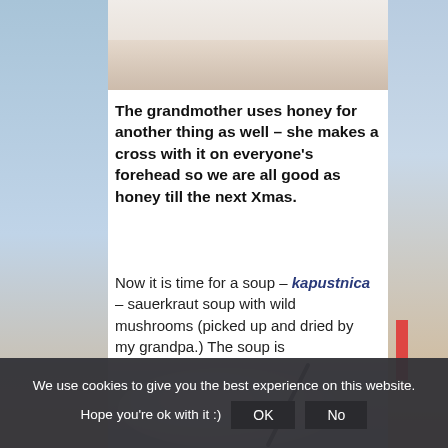[Figure (photo): Close-up photo of food (pastry/bread) on a white plate, partially visible at top of page]
The grandmother uses honey for another thing as well – she makes a cross with it on everyone's forehead so we are all good as honey till the next Xmas.
Now it is time for a soup – kapustnica – sauerkraut soup with wild mushrooms (picked up and dried by my grandpa.) The soup is accompanied again by a slice of bread. I would honestly kill for the bread my grandmother bakes (twice a year!)
[Figure (photo): Photo of a bowl of soup (kapustnica/sauerkraut soup) with a spoon, partially visible at bottom of page]
We use cookies to give you the best experience on this website. Hope you're ok with it :)